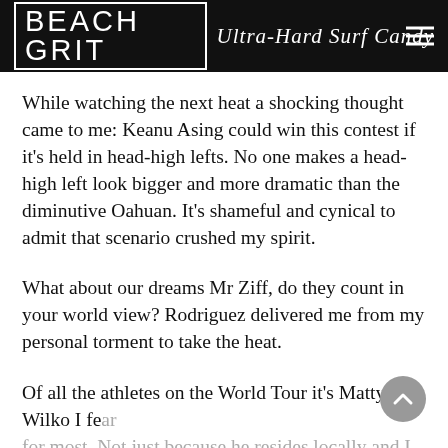BEACH GRIT Ultra-Hard Surf Candy
While watching the next heat a shocking thought came to me: Keanu Asing could win this contest if it's held in head-high lefts. No one makes a head-high left look bigger and more dramatic than the diminutive Oahuan. It's shameful and cynical to admit that scenario crushed my spirit.
What about our dreams Mr Ziff, do they count in your world view? Rodriguez delivered me from my personal torment to take the heat.
Of all the athletes on the World Tour it's Matty Wilko I fear for most. Not just because he resides locally and I surf with him a fair bit, not just because of the hard scrabble life in a van upbringing with his old man. Not even because fate…